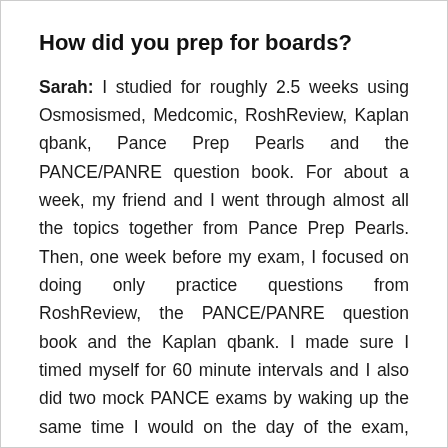How did you prep for boards?
Sarah: I studied for roughly 2.5 weeks using Osmosismed, Medcomic, RoshReview, Kaplan qbank, Pance Prep Pearls and the PANCE/PANRE question book. For about a week, my friend and I went through almost all the topics together from Pance Prep Pearls. Then, one week before my exam, I focused on doing only practice questions from RoshReview, the PANCE/PANRE question book and the Kaplan qbank. I made sure I timed myself for 60 minute intervals and I also did two mock PANCE exams by waking up the same time I would on the day of the exam, timing myself, having set breaks and eating the same snacks that I would bring on the